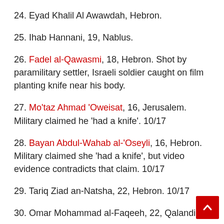24. Eyad Khalil Al Awawdah, Hebron.
25. Ihab Hannani, 19, Nablus.
26. Fadel al-Qawasmi, 18, Hebron. Shot by paramilitary settler, Israeli soldier caught on film planting knife near his body.
27. Mo'taz Ahmad 'Oweisat, 16, Jerusalem. Military claimed he 'had a knife'. 10/17
28. Bayan Abdul-Wahab al-'Oseyli, 16, Hebron. Military claimed she 'had a knife', but video evidence contradicts that claim. 10/17
29. Tariq Ziad an-Natsha, 22, Hebron. 10/17
30. Omar Mohammad al-Faqeeh, 22, Qalandia.